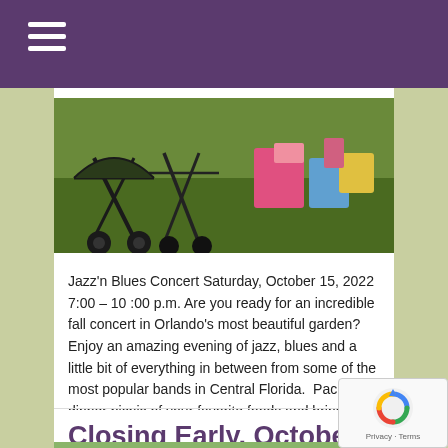[Figure (photo): Photo of strollers and picnic items on green grass at an outdoor concert or garden event]
Jazz'n Blues Concert Saturday, October 15, 2022 7:00 – 10 :00 p.m. Are you ready for an incredible fall concert in Orlando's most beautiful garden? Enjoy an amazing evening of jazz, blues and a little bit of everything in between from some of the most popular bands in Central Florida.  Pack a dinner picnic of your favorite foods and bring … Read More »
Closing Early, October 28, 4:00 p.m.
[Figure (photo): Partial photo visible at the bottom — appears to be a green garden scene]